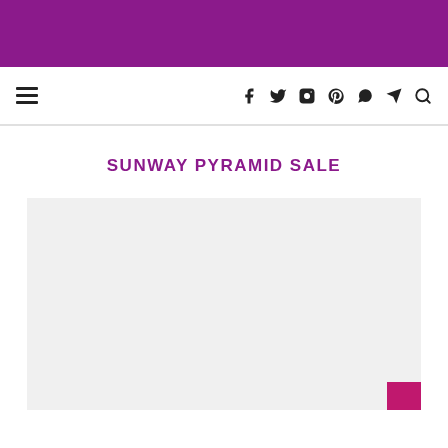hamburger menu and social icons navigation bar
SUNWAY PYRAMID SALE
[Figure (photo): Large light grey image placeholder area with a small pink/magenta square in the bottom-right corner]